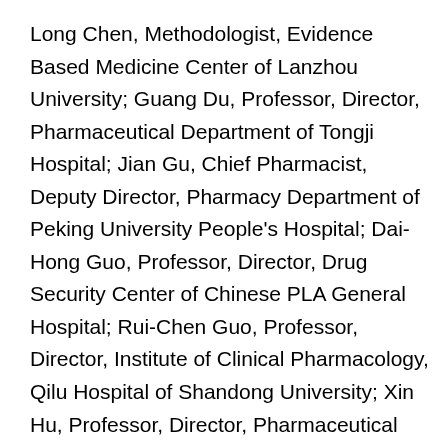Long Chen, Methodologist, Evidence Based Medicine Center of Lanzhou University; Guang Du, Professor, Director, Pharmaceutical Department of Tongji Hospital; Jian Gu, Chief Pharmacist, Deputy Director, Pharmacy Department of Peking University People's Hospital; Dai-Hong Guo, Professor, Director, Drug Security Center of Chinese PLA General Hospital; Rui-Chen Guo, Professor, Director, Institute of Clinical Pharmacology, Qilu Hospital of Shandong University; Xin Hu, Professor, Director, Pharmaceutical Department of Beijing Hospital; Huan-De Li; Professor, Director, Staff Room of Clinical Pharmacy, School of Pharmaceutical Sciences of Central South University; Gao-Lin Liu, Professor, Director, Pharmaceutical Department of Shanghai First People's Hospital; Yuan Lu, Research